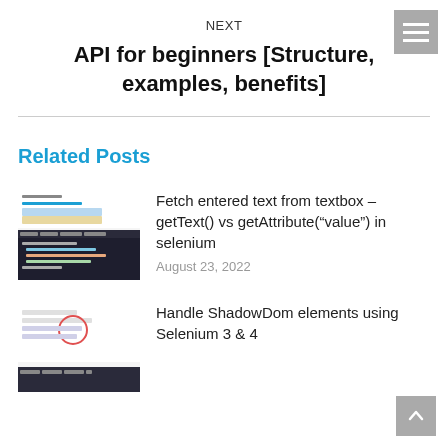NEXT
API for beginners [Structure, examples, benefits]
Related Posts
[Figure (screenshot): Screenshot of a browser showing a textbox element in developer tools]
Fetch entered text from textbox – getText() vs getAttribute(“value”) in selenium
August 23, 2022
[Figure (screenshot): Screenshot showing ShadowDom elements in browser developer tools]
Handle ShadowDom elements using Selenium 3 & 4